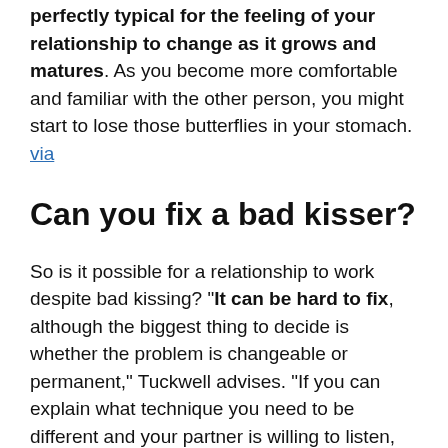perfectly typical for the feeling of your relationship to change as it grows and matures. As you become more comfortable and familiar with the other person, you might start to lose those butterflies in your stomach. via
Can you fix a bad kisser?
So is it possible for a relationship to work despite bad kissing? "It can be hard to fix, although the biggest thing to decide is whether the problem is changeable or permanent," Tuckwell advises. "If you can explain what technique you need to be different and your partner is willing to listen, then that's changeable." via
What makes a bad kisser?